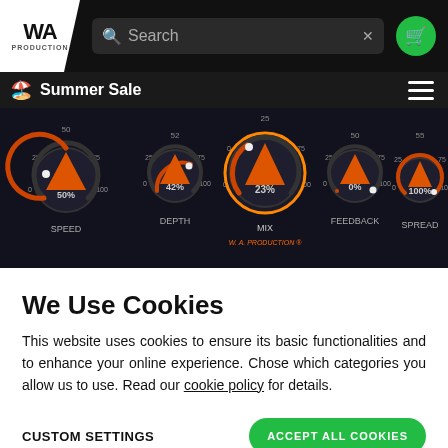[Figure (screenshot): W.A. Production website header with logo, search bar, and cart button on dark navigation bar]
Summer Sale
[Figure (screenshot): W.A. Production plugin UI showing 5 knobs: SPEED 50%, DEPTH 42%, MIX 23%, FEEDBACK 0%, SPREAD 100% on dark background with orange accents]
We Use Cookies
This website uses cookies to ensure its basic functionalities and to enhance your online experience. Chose which categories you allow us to use. Read our cookie policy for details.
CUSTOM SETTINGS
ACCEPT ALL COOKIES